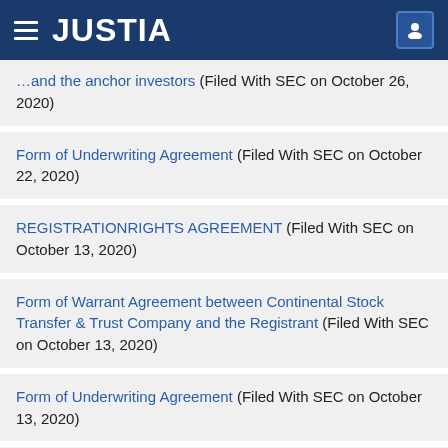JUSTIA
Form of Subscription Agreement between the Sponsor and the anchor investors (Filed With SEC on October 26, 2020)
Form of Underwriting Agreement (Filed With SEC on October 22, 2020)
REGISTRATIONRIGHTS AGREEMENT (Filed With SEC on October 13, 2020)
Form of Warrant Agreement between Continental Stock Transfer & Trust Company and the Registrant (Filed With SEC on October 13, 2020)
Form of Underwriting Agreement (Filed With SEC on October 13, 2020)
Form of Registration Rights Agreement between the